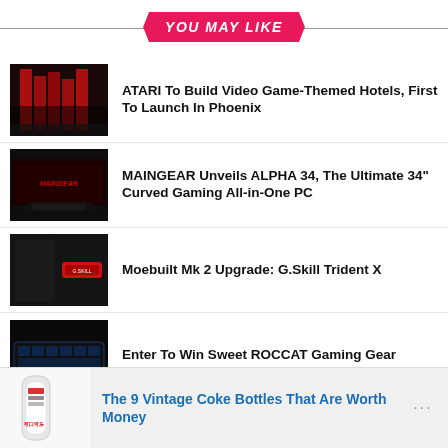YOU MAY LIKE
[Figure (photo): Building lit in red at night, resembling Atari branding]
ATARI To Build Video Game-Themed Hotels, First To Launch In Phoenix
[Figure (photo): MAINGEAR curved gaming all-in-one PC monitor with keyboard]
MAINGEAR Unveils ALPHA 34, The Ultimate 34" Curved Gaming All-in-One PC
[Figure (photo): Gaming PC case with red G.Skill Trident X RAM stick]
Moebuilt Mk 2 Upgrade: G.Skill Trident X
[Figure (photo): ROCCAT gaming keyboard with blue LED backlight]
Enter To Win Sweet ROCCAT Gaming Gear
[Figure (photo): Vintage Coca-Cola bottle with Chinese text]
The 9 Vintage Coke Bottles That Are Worth Money